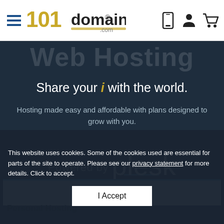[Figure (logo): 101domain.com logo — stylized gold '101' with 'domain' text and '.com' suffix]
Web Hosting
Share your i with the world.
Hosting made easy and affordable with plans designed to grow with you.
Powered by plesk
Personal Hosting
STARTING AT
This website uses cookies. Some of the cookies used are essential for parts of the site to operate. Please see our privacy statement for more details. Click to accept.
I Accept